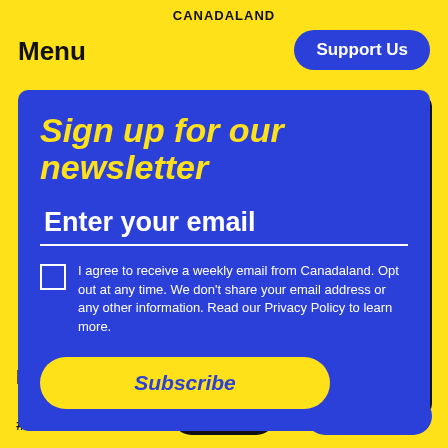CANADALAND
Menu
Support Us
Sign up for our newsletter
Enter your email
I agree to receive a weekly email from Canadaland. Opt out at any time. We don't share your email address or any other information. Read our Privacy Policy to learn more.
Subscribe
Podcasts
00:00 / ...
#18 VICE: An Or...
Share
Subscribe